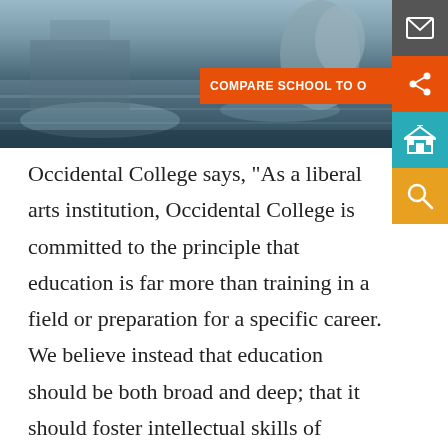[Figure (photo): Aerial/ground-level photo of Occidental College campus area with water feature and sculpture, gray-blue tones]
Occidental College says, "As a liberal arts institution, Occidental College is committed to the principle that education is far more than training in a field or preparation for a specific career. We believe instead that education should be both broad and deep; that it should foster intellectual skills of agility, inquiry, synthesis, and the ability to move comfortably among multiple perspectives; and that students are active participants in the ongoing construction of knowledge that is higher education's purpose. The Core Program— a cross-disciplinary array of courses required of all students providing the intellectual foundation for Occidental's commitment to excellence, equity, service, and